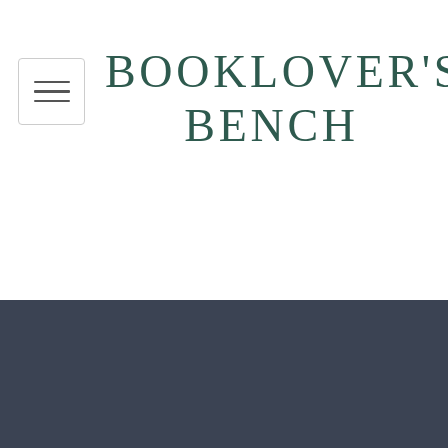[Figure (logo): Hamburger menu button icon with three horizontal lines inside a rounded rectangle border]
BOOKLOVER'S BENCH
-Read More-
[Figure (illustration): Dark footer area with an upward chevron/caret arrow icon centered, and a thin horizontal divider line below it]